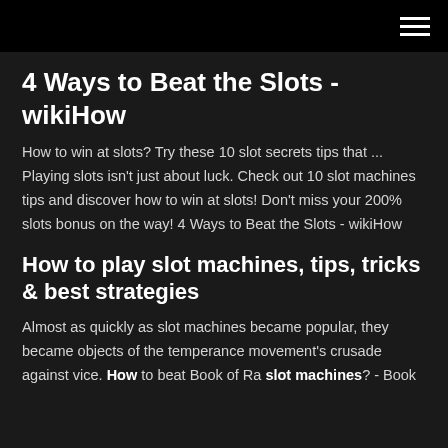4 Ways to Beat the Slots - wikiHow
How to win at slots? Try these 10 slot secrets tips that ... Playing slots isn't just about luck. Check out 10 slot machines tips and discover how to win at slots! Don't miss your 200% slots bonus on the way! 4 Ways to Beat the Slots - wikiHow
How to play slot machines, tips, tricks & best strategies
Almost as quickly as slot machines became popular, they became objects of the temperance movement's crusade against vice. How to beat Book of Ra slot machines? - Book